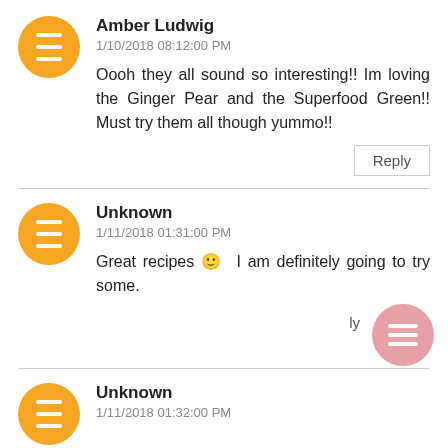Amber Ludwig
1/10/2018 08:12:00 PM
Oooh they all sound so interesting!! Im loving the Ginger Pear and the Superfood Green!! Must try them all though yummo!!
Reply
Unknown
1/11/2018 01:31:00 PM
Great recipes 🙂 I am definitely going to try some.
Unknown
1/11/2018 01:32:00 PM